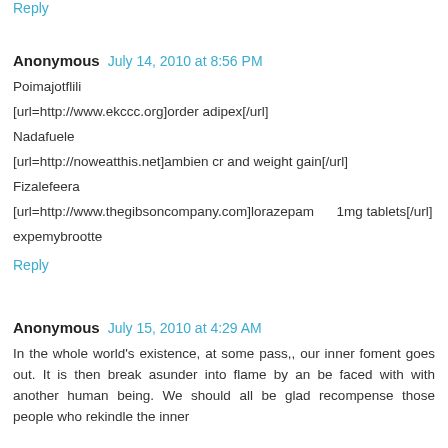Reply
Anonymous  July 14, 2010 at 8:56 PM
Poimajotflili
[url=http://www.ekccc.org]order adipex[/url]
Nadafuele
[url=http://noweatthis.net]ambien cr and weight gain[/url]
Fizalefeera
[url=http://www.thegibsoncompany.com]lorazepam 1mg tablets[/url]
expemybrootte
Reply
Anonymous  July 15, 2010 at 4:29 AM
In the whole world's existence, at some pass,, our inner foment goes out. It is then break asunder into flame by an be faced with with another human being. We should all be glad recompense those people who rekindle the inner